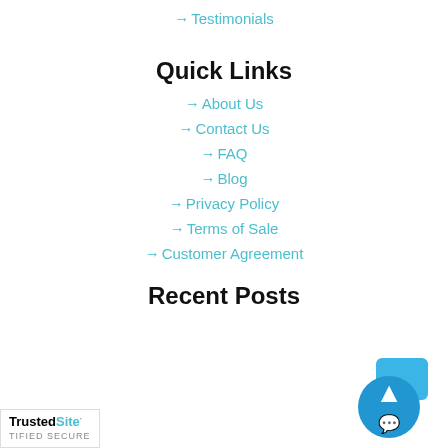→ Testimonials
Quick Links
→ About Us
→ Contact Us
→ FAQ
→ Blog
→ Privacy Policy
→ Terms of Sale
→ Customer Agreement
Recent Posts
[Figure (logo): TrustedSite certified secure badge]
[Figure (illustration): Blue chat bubble icon]